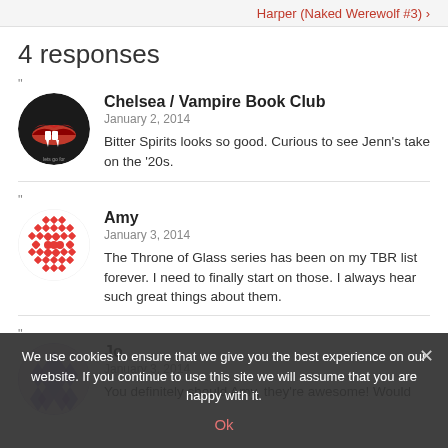Harper (Naked Werewolf #3) ›
4 responses
"
[Figure (photo): Avatar for Chelsea / Vampire Book Club — circular image of lips with fangs, red background]
Chelsea / Vampire Book Club
January 2, 2014
Bitter Spirits looks so good. Curious to see Jenn's take on the '20s.
"
[Figure (photo): Avatar for Amy — circular red diamond/dot pattern on white background]
Amy
January 3, 2014
The Throne of Glass series has been on my TBR list forever. I need to finally start on those. I always hear such great things about them.
"
[Figure (photo): Avatar for Jo — circular geometric diamond pattern, purple/grey tones]
Jo
January 3, 2014
You definitely should Amy, they're awesome! Would
We use cookies to ensure that we give you the best experience on our website. If you continue to use this site we will assume that you are happy with it.
Ok